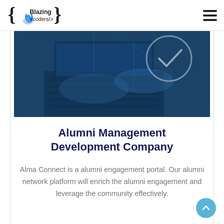Blazing <coders/>
[Figure (photo): Hands typing on a laptop with a glowing digital interface overlay showing a checkmark circle, blue-tinted technology photo]
Alumni Management Development Company
Alma Connect is a alumni engagement portal. Our alumni network platform will enrich the alumni engagement and leverage the community effectively.